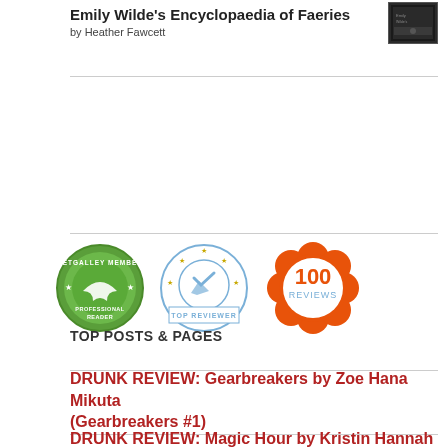Emily Wilde's Encyclopaedia of Faeries
by Heather Fawcett
[Figure (photo): Small book cover thumbnail image, dark/black background]
[Figure (illustration): Three circular badge logos side by side: NetGalley Member Professional Reader (green), Top Reviewer (blue with stars and checkmark), and 100 Reviews (orange flower-shaped badge)]
TOP POSTS & PAGES
DRUNK REVIEW: Gearbreakers by Zoe Hana Mikuta (Gearbreakers #1)
DRUNK REVIEW: Magic Hour by Kristin Hannah